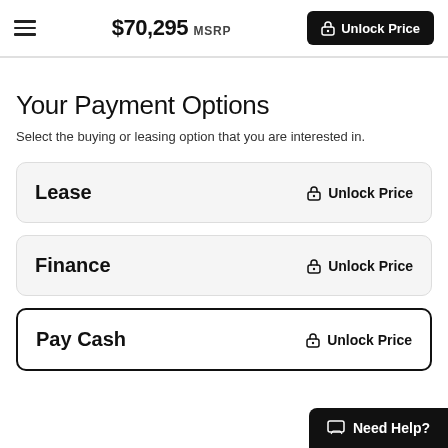$70,295 MSRP | Unlock Price
Your Payment Options
Select the buying or leasing option that you are interested in.
Lease — Unlock Price
Finance — Unlock Price
Pay Cash — Unlock Price
Need Help?